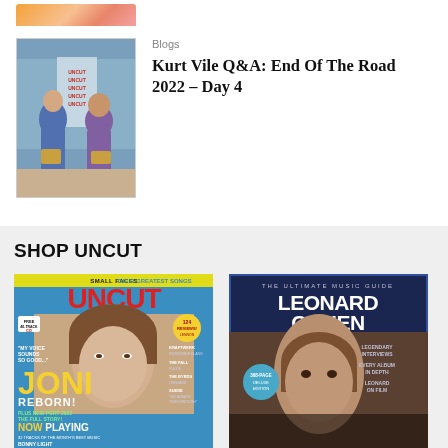[Figure (illustration): Orange and pink banner/logo strip at the top of the page]
[Figure (photo): Photo of Kurt Vile Q&A session at End Of The Road festival 2022, two people sitting with UNCUT banners in background]
Blogs
Kurt Vile Q&A: End Of The Road 2022 – Day 4
SHOP UNCUT
[Figure (photo): UNCUT magazine cover featuring Joni Mitchell (Joni Reborn!) with Small Faces Greatest Songs headline]
[Figure (photo): The Ultimate Music Guide: Leonard Cohen deluxe edition cover]